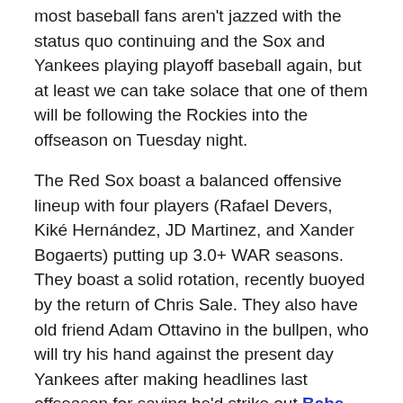most baseball fans aren't jazzed with the status quo continuing and the Sox and Yankees playing playoff baseball again, but at least we can take solace that one of them will be following the Rockies into the offseason on Tuesday night.
The Red Sox boast a balanced offensive lineup with four players (Rafael Devers, Kiké Hernández, JD Martinez, and Xander Bogaerts) putting up 3.0+ WAR seasons. They boast a solid rotation, recently buoyed by the return of Chris Sale. They also have old friend Adam Ottavino in the bullpen, who will try his hand against the present day Yankees after making headlines last offseason for saying he'd strike out Babe Ruth.